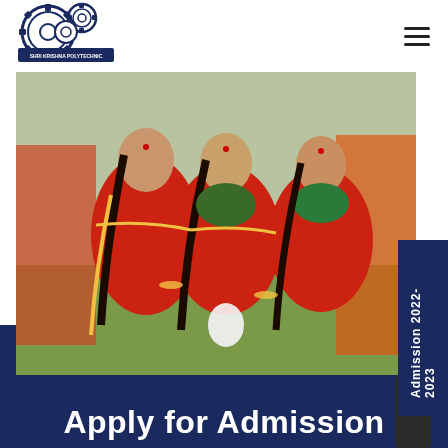[Figure (logo): Institutional logo with gears and circular emblem in navy blue]
[Figure (photo): Three young women in traditional red Indian attire (sarees with gold trim) sitting/posing outdoors on grass, wearing jewelry and braided hair, at a cultural event]
Admission 2022-2023
Apply for Admission